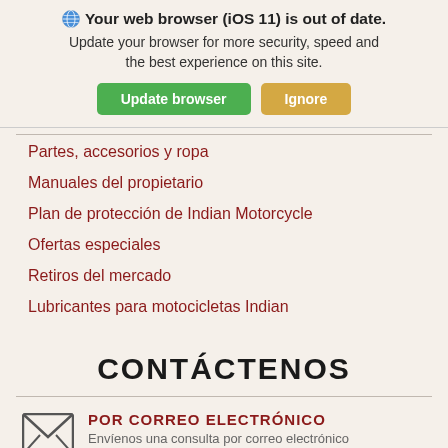🌐 Your web browser (iOS 11) is out of date. Update your browser for more security, speed and the best experience on this site.
Update browser | Ignore
Partes, accesorios y ropa
Manuales del propietario
Plan de protección de Indian Motorcycle
Ofertas especiales
Retiros del mercado
Lubricantes para motocicletas Indian
CONTÁCTENOS
POR CORREO ELECTRÓNICO
Envíenos una consulta por correo electrónico